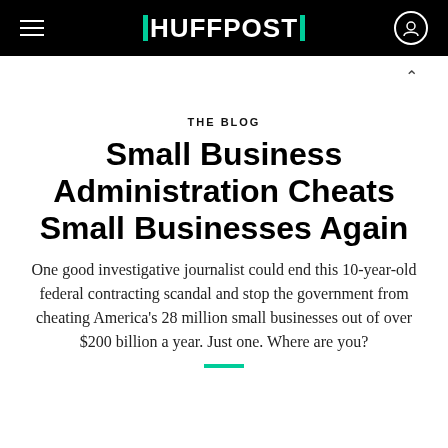HUFFPOST
THE BLOG
Small Business Administration Cheats Small Businesses Again
One good investigative journalist could end this 10-year-old federal contracting scandal and stop the government from cheating America's 28 million small businesses out of over $200 billion a year. Just one. Where are you?